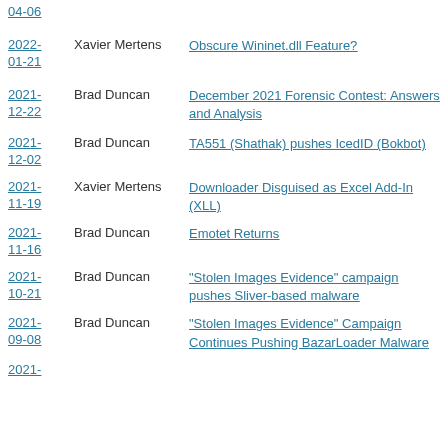04-06 | Xavier Mertens | Obscure Wininet.dll Feature?
2022-01-21 | Xavier Mertens | Obscure Wininet.dll Feature?
2021-12-22 | Brad Duncan | December 2021 Forensic Contest: Answers and Analysis
2021-12-02 | Brad Duncan | TA551 (Shathak) pushes IcedID (Bokbot)
2021-11-19 | Xavier Mertens | Downloader Disguised as Excel Add-In (XLL)
2021-11-16 | Brad Duncan | Emotet Returns
2021-10-21 | Brad Duncan | "Stolen Images Evidence" campaign pushes Sliver-based malware
2021-09-08 | Brad Duncan | "Stolen Images Evidence" Campaign Continues Pushing BazarLoader Malware
2021-...